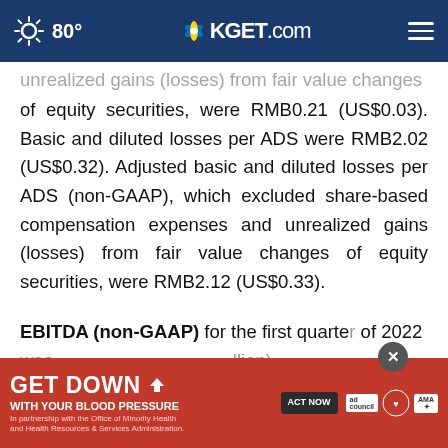80° KGET.com
unrealized gains (losses) from fair value changes of equity securities, were RMB0.21 (US$0.03). Basic and diluted losses per ADS were RMB2.02 (US$0.32). Adjusted basic and diluted losses per ADS (non-GAAP), which excluded share-based compensation expenses and unrealized gains (losses) from fair value changes of equity securities, were RMB2.12 (US$0.33).
EBITDA (non-GAAP) for the first quarter of 2022 was [obscured by ad] (million), comp[ared to the] first
[Figure (other): Advertisement overlay: GET DOWN WITH YOUR BLOOD PRESSURE, red background, with ACT NOW button, ad council logo, American Heart Association logo, AMA logo. Close button (X) visible above ad.]